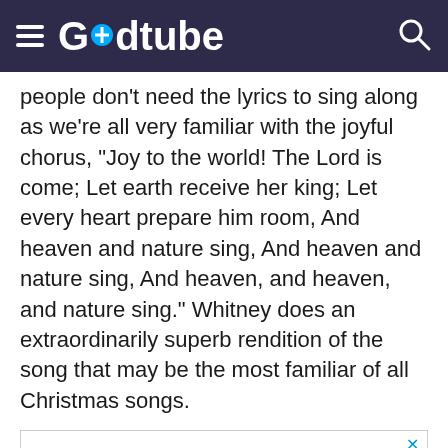Godtube
people don't need the lyrics to sing along as we're all very familiar with the joyful chorus, “Joy to the world! The Lord is come; Let earth receive her king; Let every heart prepare him room, And heaven and nature sing, And heaven and nature sing, And heaven, and heaven, and nature sing.” Whitney does an extraordinarily superb rendition of the song that may be the most familiar of all Christmas songs.
[Figure (other): Advertisement banner: TAKE YOUR LIFE BACK - LEARN BIBLICAL WAYS TO LIVE IN FREEDOM]